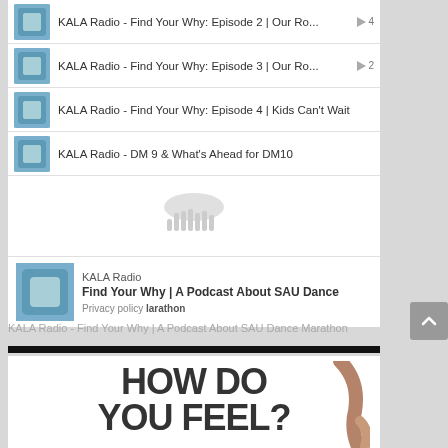KALA Radio - Find Your Why: Episode 2 | Our Ro...  ▶ 4
KALA Radio - Find Your Why: Episode 3 | Our Ro...  ▶ 2
KALA Radio - Find Your Why: Episode 4 | Kids Can't Wait
KALA Radio - DM 9 & What's Ahead for DM10
[Figure (logo): SoundCloud logo (cloud shape in gray)]
KALA Radio
Find Your Why | A Podcast About SAU Dance
Privacy policy  larathon
KALA Radio - Find Your Why | A Podcast About SAU Dance Marathon
[Figure (photo): Bottom portion of a colorful graphic showing text HOW DO YOU FEEL? with illustrated arms in brown tones on a light background]